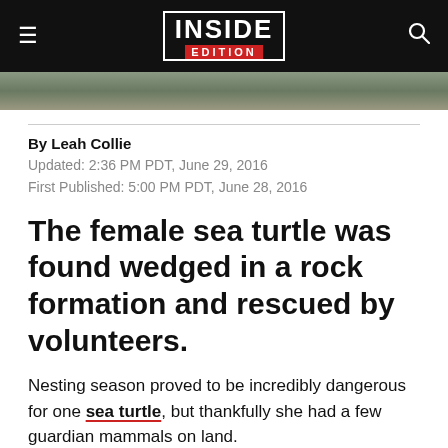INSIDE EDITION
[Figure (photo): Partial view of a nature/wildlife photo strip showing rocky or natural terrain]
By Leah Collie
Updated: 2:36 PM PDT, June 29, 2016
First Published: 5:00 PM PDT, June 28, 2016
The female sea turtle was found wedged in a rock formation and rescued by volunteers.
Nesting season proved to be incredibly dangerous for one sea turtle, but thankfully she had a few guardian mammals on land.
A few b...